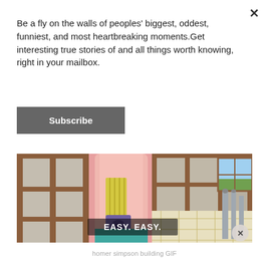Be a fly on the walls of peoples' biggest, oddest, funniest, and most heartbreaking moments.Get interesting true stories of and all things worth knowing, right in your mailbox.
Subscribe
[Figure (illustration): Animated Simpsons-style cartoon image showing the inside of a house under construction or renovation. Wooden wall framing, drywall panels, a pink room visible through a doorway, a purple speaker on the floor, pipes on the right side wall, a checkered tile floor, and a window with a landscape view. Subtitle text reads: EASY. EASY. A circular X button is in the bottom right corner.]
homer simpson building GIF